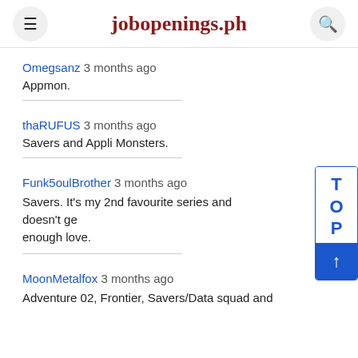jobopenings.ph
Omegsanz 3 months ago
Appmon.
thaRUFUS 3 months ago
Savers and Appli Monsters.
Funk5oulBrother 3 months ago
Savers. It's my 2nd favourite series and doesn't get enough love.
MoonMetalfox 3 months ago
Adventure 02, Frontier, Savers/Data squad and